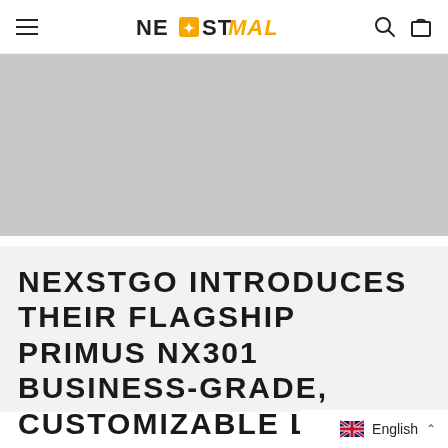NexstMall navigation bar with hamburger menu, logo, search and cart icons
[Figure (photo): Grey placeholder image (hero banner area)]
NEXSTGO INTRODUCES THEIR FLAGSHIP PRIMUS NX301 BUSINESS-GRADE, CUSTOMIZABLE LAPTOP AT CES 2019 IN LAS VEGA
English